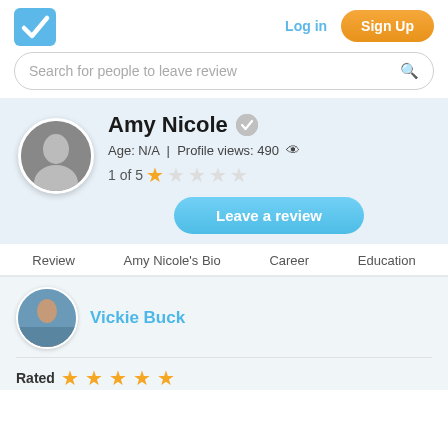[Figure (logo): Blue checkbox/checkmark logo icon in top left]
Log in
Sign Up
Search for people to leave review
Amy Nicole
Age: N/A  |  Profile views: 490
1 of 5 ★☆☆☆☆
Leave a review
Review   Amy Nicole's Bio   Career   Education
Vickie Buck
Rated ★★★★★